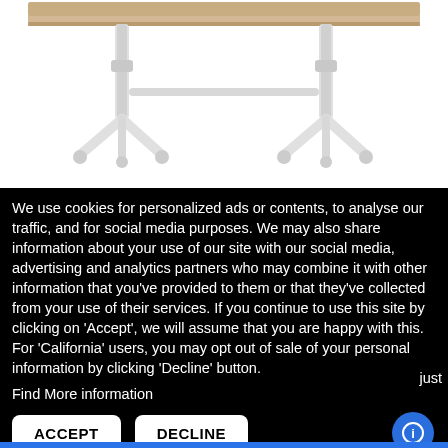[Figure (photo): Product photo of a height-adjustable standing desk with a light wood top and white metal legs/frame, shown from an angle on a white background. The lower portion of the desk legs and base are visible.]
We use cookies for personalized ads or contents, to analyse our traffic, and for social media purposes. We may also share information about your use of our site with our social media, advertising and analytics partners who may combine it with other information that you've provided to them or that they've collected from your use of their services. If you continue to use this site by clicking on 'Accept', we will assume that you are happy with this. For 'California' users, you may opt out of sale of your personal information by clicking 'Decline' button. Find More information
just